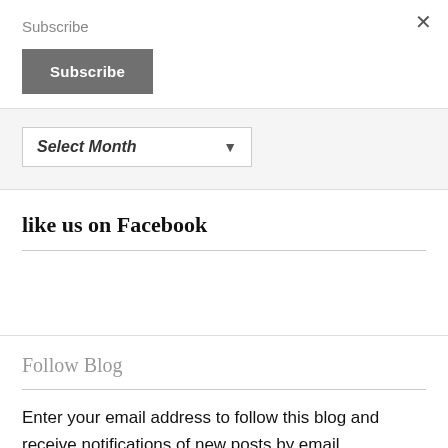×
Subscribe
Subscribe
Select Month
like us on Facebook
Follow Blog
Enter your email address to follow this blog and receive notifications of new posts by email.
Enter your email address